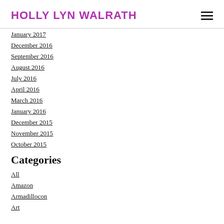HOLLY LYN WALRATH
January 2017
December 2016
September 2016
August 2016
July 2016
April 2016
March 2016
January 2016
December 2015
November 2015
October 2015
Categories
All
Amazon
Armadillocon
Art